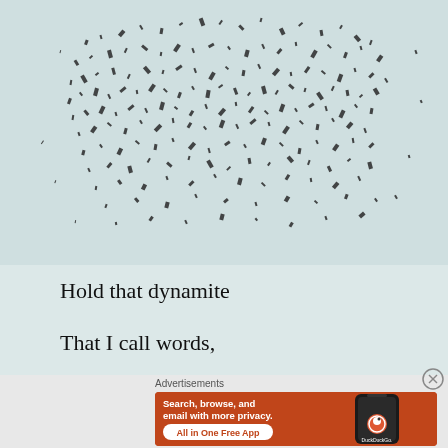[Figure (illustration): Scattered black particles/fragments on a light teal/mint background, forming a cloud-like dispersal pattern]
Hold that dynamite
That I call words,
Advertisements
[Figure (other): DuckDuckGo advertisement banner on orange background: 'Search, browse, and email with more privacy. All in One Free App' with phone mockup showing DuckDuckGo logo]